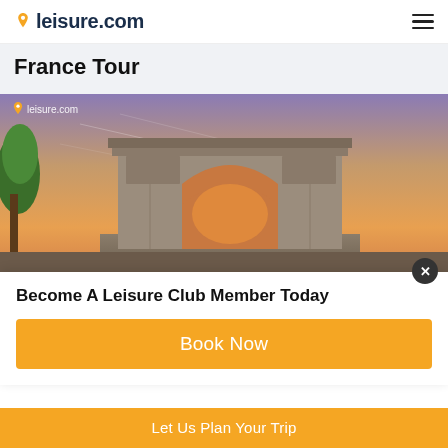leisure.com
France Tour
[Figure (photo): Photo of the Arc de Triomphe in Paris at sunset with warm orange and purple sky, green trees on left, leisure.com watermark in top-left corner]
Become A Leisure Club Member Today
Book Now
Let Us Plan Your Trip